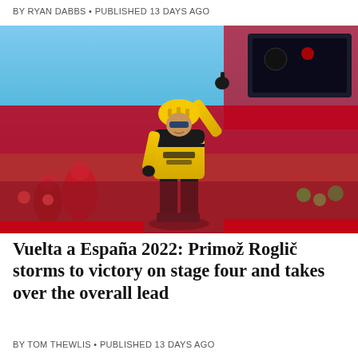BY RYAN DABBS • PUBLISHED 13 DAYS AGO
[Figure (photo): Cyclist in yellow and black Jumbo-Visma kit raising arm in victory celebration at a race finish line, with crowd and red backdrop visible.]
Vuelta a España 2022: Primož Roglič storms to victory on stage four and takes over the overall lead
BY TOM THEWLIS • PUBLISHED 13 DAYS AGO